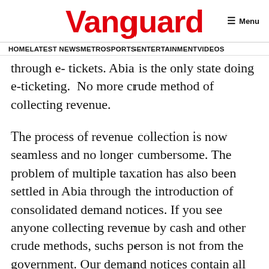Vanguard
HOME  LATEST NEWS  METRO  SPORTS  ENTERTAINMENT  VIDEOS
through e- tickets. Abia is the only state doing e-ticketing. No more crude method of collecting revenue.
The process of revenue collection is now seamless and no longer cumbersome. The problem of multiple taxation has also been settled in Abia through the introduction of consolidated demand notices. If you see anyone collecting revenue by cash and other crude methods, suchs person is not from the government. Our demand notices contain all the taxes/revenues an